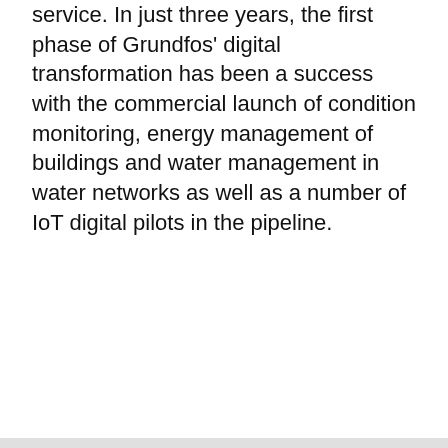service. In just three years, the first phase of Grundfos' digital transformation has been a success with the commercial launch of condition monitoring, energy management of buildings and water management in water networks as well as a number of IoT digital pilots in the pipeline.